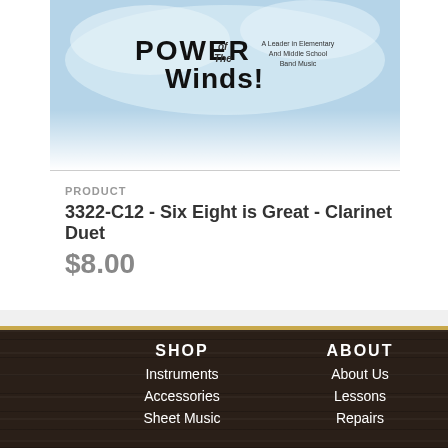[Figure (illustration): Power of the Winds sheet music logo banner with stylized text and wind imagery on a blue/white background]
PRODUCT
3322-C12 - Six Eight is Great - Clarinet Duet
$8.00
SHOP | Instruments | Accessories | Sheet Music | ABOUT | About Us | Lessons | Repairs